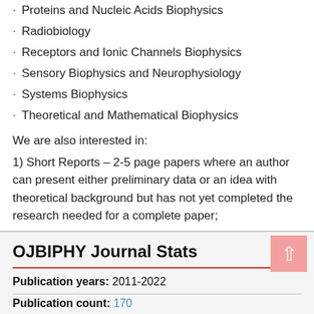Proteins and Nucleic Acids Biophysics
Radiobiology
Receptors and Ionic Channels Biophysics
Sensory Biophysics and Neurophysiology
Systems Biophysics
Theoretical and Mathematical Biophysics
We are also interested in:
1) Short Reports – 2-5 page papers where an author can present either preliminary data or an idea with theoretical background but has not yet completed the research needed for a complete paper;
2) Book Reviews – Comments and critiques.
OJBIPHY Journal Stats
Publication years: 2011-2022
Publication count: 170